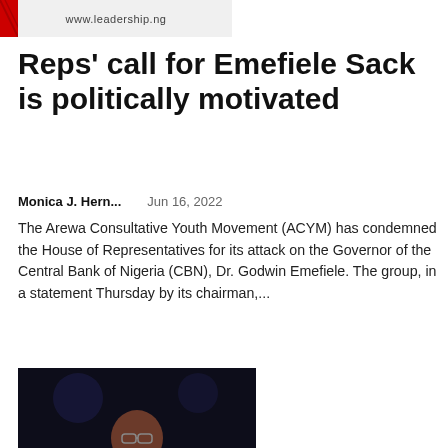[Figure (photo): Leadership.ng website header/logo banner with red stripe and website URL www.leadership.ng]
Reps' call for Emefiele Sack is politically motivated
Monica J. Hern...    Jun 16, 2022
The Arewa Consultative Youth Movement (ACYM) has condemned the House of Representatives for its attack on the Governor of the Central Bank of Nigeria (CBN), Dr. Godwin Emefiele. The group, in a statement Thursday by its chairman,...
[Figure (photo): A man in a blue suit with red tie speaking at a podium with a microphone, against a dark background]
Ministry of Sports holds first U-